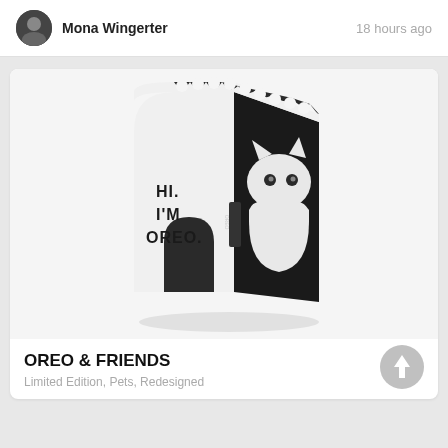Mona Wingerter  18 hours ago
[Figure (photo): 3D render of a black and white Oreo cookie box designed to look like a cat house with the text 'HI. I'M OREO.' on the side]
OREO & FRIENDS
Limited Edition,  Pets,  Redesigned